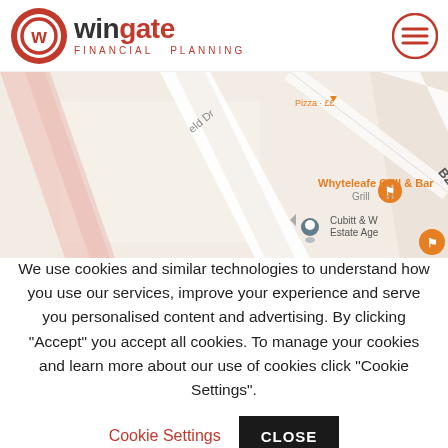[Figure (logo): Wingate Financial Planning logo with red circular W emblem and text]
[Figure (map): Google Maps screenshot showing Whyteleafe Grill & Bar, Cubitt & W Estate Age, road B2208, street view]
We use cookies and similar technologies to understand how you use our services, improve your experience and serve you personalised content and advertising. By clicking "Accept" you accept all cookies. To manage your cookies and learn more about our use of cookies click "Cookie Settings".
Cookie Settings
CLOSE